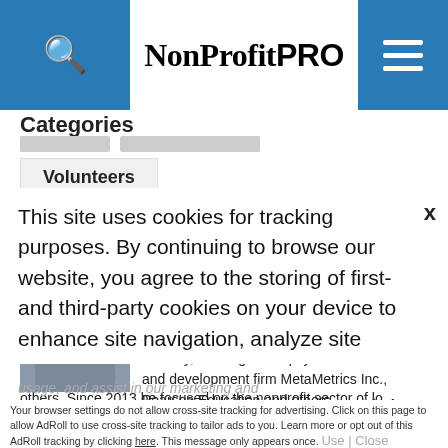NonProfit PRO
Categories
Volunteers
Otis Fulton, Ph.D
Author's page
Otis spent most of his career in the education industry, working at the psychometric research and development firm MetaMetrics Inc., Pearson Education and others. Since 2013 he has focused on the nonprofit sector.
This site uses cookies for tracking purposes. By continuing to browse our website, you agree to the storing of first- and third-party cookies on your device to enhance site navigation, analyze site usage, and assist in our marketing and
Accept and Close ✕
Your browser settings do not allow cross-site tracking for advertising. Click on this page to allow AdRoll to use cross-site tracking to tailor ads to you. Learn more or opt out of this AdRoll tracking by clicking here. This message only appears once.